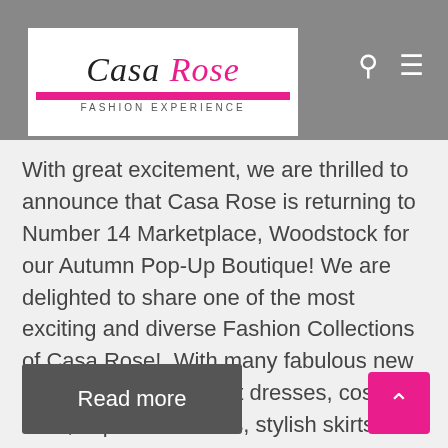[Figure (screenshot): Casa Rose Fashion Experience website header with logo on white background, search icon and hamburger menu icon on grey background]
With great excitement, we are thrilled to announce that Casa Rose is returning to Number 14 Marketplace, Woodstock for our Autumn Pop-Up Boutique! We are delighted to share one of the most exciting and diverse Fashion Collections of Casa Rose!  With many fabulous new styles including vibrant dresses, cosy knits, super fit trousers, stylish skirts …
Read more
[Figure (other): Back to top arrow button in pink]